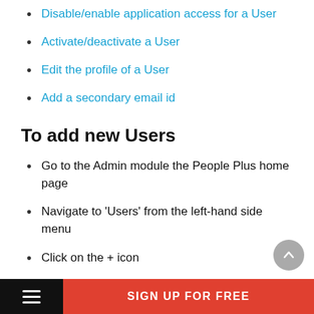Disable/enable application access for a User
Activate/deactivate a User
Edit the profile of a User
Add a secondary email id
To add new Users
Go to the Admin module the People Plus home page
Navigate to 'Users' from the left-hand side menu
Click on the + icon
Enter the first name, last name and the email id
SIGN UP FOR FREE